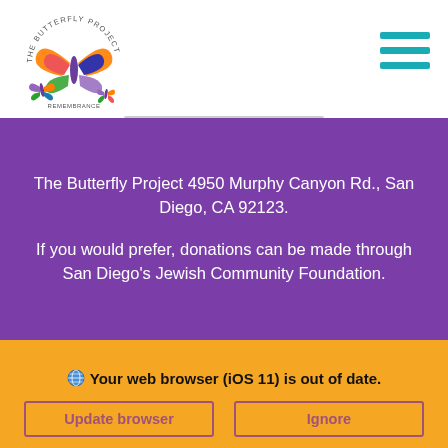[Figure (logo): The Butterfly Project logo — colorful butterfly with text 'THE BUTTERFLY PROJECT' arced above and 'REMEMBRANCE AND HOPE' below]
The Butterfly Project 4950 Murphy Canyon Rd., San Diego, CA 92123.

If you would prefer, donations can be made through San Diego's Jewish Community Foundation.
🌐 Your web browser (iOS 11) is out of date. Update your browser for more security, speed and the best experience on this site.
Update browser | Ignore